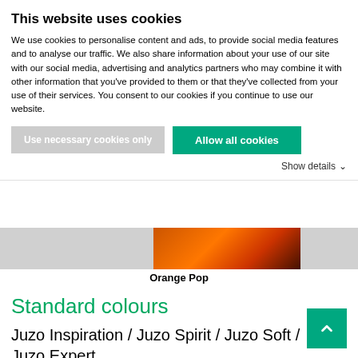This website uses cookies
We use cookies to personalise content and ads, to provide social media features and to analyse our traffic. We also share information about your use of our site with our social media, advertising and analytics partners who may combine it with other information that you've provided to them or that they've collected from your use of their services. You consent to our cookies if you continue to use our website.
Use necessary cookies only
Allow all cookies
Show details
[Figure (photo): Close-up photo of orange and dark toned fabric or textile, partially visible]
Orange Pop
Standard colours
Juzo Inspiration / Juzo Spirit / Juzo Soft / Juzo Expert